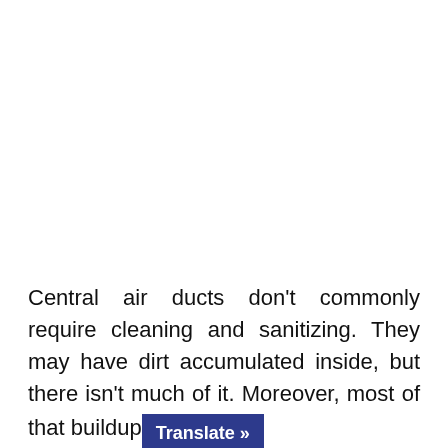Central air ducts don't commonly require cleaning and sanitizing. They may have dirt accumulated inside, but there isn't much of it. Moreover, most of that buildup [Translate »]